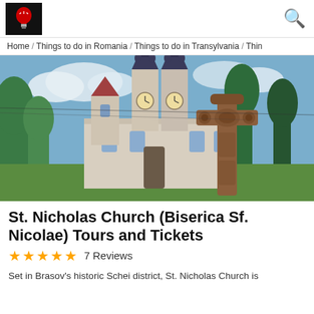logo and search icon header
Home / Things to do in Romania / Things to do in Transylvania / Thin
[Figure (photo): Exterior photo of St. Nicholas Church (Biserica Sf. Nicolae) in Brasov, Romania, showing the church towers, a wooden carved cross in the foreground, trees, and a partly cloudy sky.]
St. Nicholas Church (Biserica Sf. Nicolae) Tours and Tickets
★★★★★  7 Reviews
Set in Brasov's historic Schei district, St. Nicholas Church is